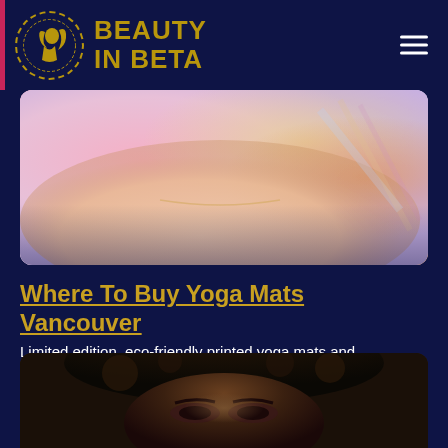BEAUTY IN BETA
[Figure (photo): Close-up photo of a woman's neck and collarbone area wearing a delicate necklace, with pink and colorful light bokeh background]
Where To Buy Yoga Mats Vancouver
Limited edition, eco-friendly printed yoga mats and accessories designed in Vancouver, Canada. Created to support and enhance your fitness journey. …
[Figure (photo): Close-up photo of a woman's face with curly dark hair and dramatic eye makeup, partially visible at the bottom of the page]